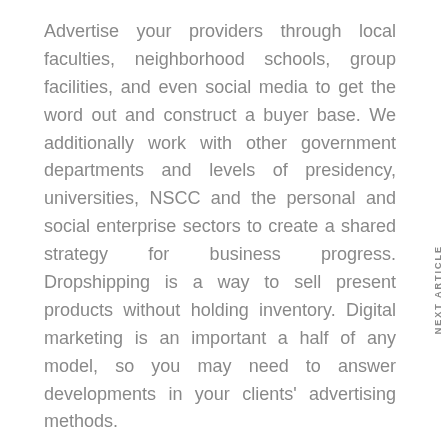Advertise your providers through local faculties, neighborhood schools, group facilities, and even social media to get the word out and construct a buyer base. We additionally work with other government departments and levels of presidency, universities, NSCC and the personal and social enterprise sectors to create a shared strategy for business progress. Dropshipping is a way to sell present products without holding inventory. Digital marketing is an important a half of any model, so you may need to answer developments in your clients' advertising methods.
Business generally refers to organizations that